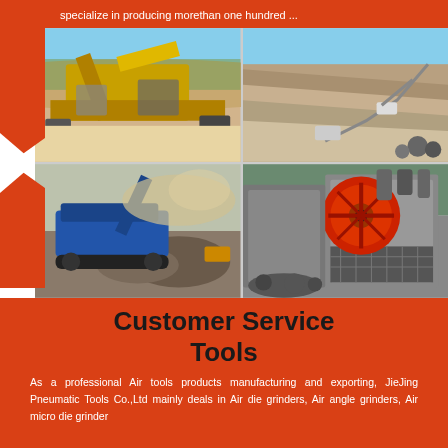specialize in producing morethan one hundred ...
[Figure (photo): Four photos of heavy mining and crushing equipment in outdoor quarry/mining settings. Top-left: large yellow conveyor/crushing plant at a quarry. Top-right: aerial view of open-pit mine with machinery. Bottom-left: blue mobile crushing plant operating outdoors with dust. Bottom-right: industrial jaw crusher machine with red flywheel.]
Customer Service Tools
As a professional Air tools products manufacturing and exporting, JieJing Pneumatic Tools Co.,Ltd mainly deals in Air die grinders, Air angle grinders, Air micro die grinder